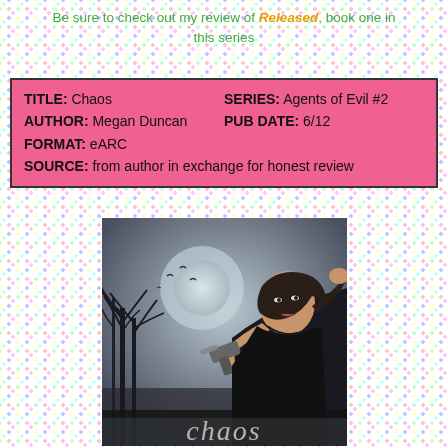Be sure to check out my review of Released, book one in this series
| TITLE: Chaos | SERIES: Agents of Evil #2 |
| AUTHOR: Megan Duncan | PUB DATE: 6/12 |
| FORMAT: eARC |  |
| SOURCE: from author in exchange for honest review |  |
[Figure (illustration): Book cover of 'Chaos' by Megan Duncan showing a dark-haired woman in a black top holding a gun, with bare winter trees and a moody sky in the background. The word 'chaos' appears in stylized text at the bottom.]